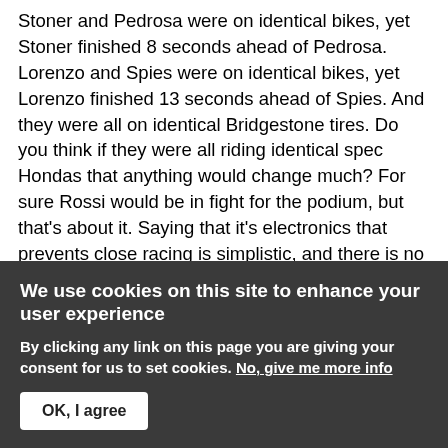Stoner and Pedrosa were on identical bikes, yet Stoner finished 8 seconds ahead of Pedrosa. Lorenzo and Spies were on identical bikes, yet Lorenzo finished 13 seconds ahead of Spies. And they were all on identical Bridgestone tires. Do you think if they were all riding identical spec Hondas that anything would change much? For sure Rossi would be in fight for the podium, but that's about it. Saying that it's electronics that prevents close racing is simplistic, and there is no real evidence that the problem is electronics, just guesswork.
I saw the racing in the
We use cookies on this site to enhance your user experience
By clicking any link on this page you are giving your consent for us to set cookies. No, give me more info
OK, I agree